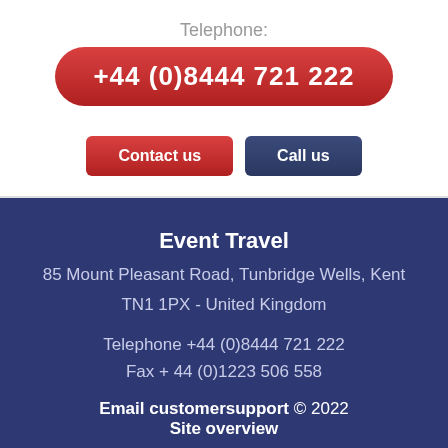Telephone:
+44 (0)8444 721 222
Contact us
Call us
Event Travel
85 Mount Pleasant Road, Tunbridge Wells, Kent
TN1 1PX - United Kingdom

Telephone +44 (0)8444 721 222
Fax + 44 (0)1223 506 558

Email customersupport © 2022
Site overview